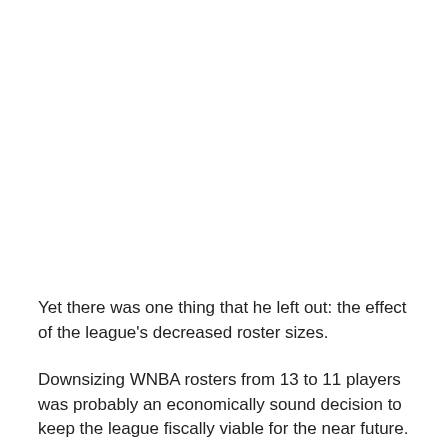Yet there was one thing that he left out: the effect of the league's decreased roster sizes.
Downsizing WNBA rosters from 13 to 11 players was probably an economically sound decision to keep the league fiscally viable for the near future.